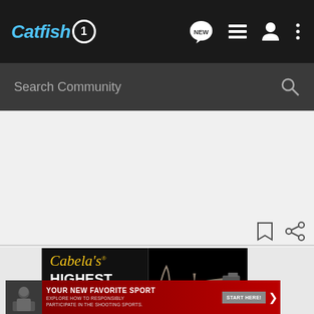Catfish1
Search Community
[Figure (screenshot): Cabela's advertisement showing crossbow with text HIGHEST RATED on dark background]
[Figure (advertisement): Red banner ad: YOUR NEW FAVORITE SPORT - EXPLORE HOW TO RESPONSIBLY PARTICIPATE IN THE SHOOTING SPORTS. START HERE!]